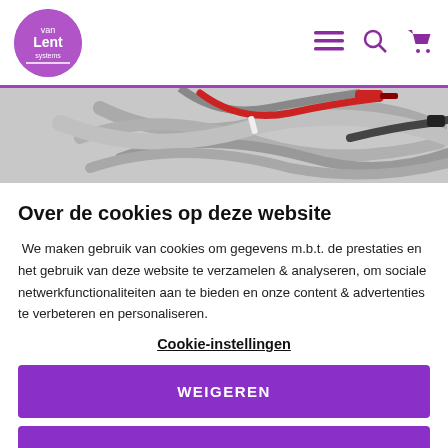vanLent systems logo and navigation icons
[Figure (photo): Close-up photo of grey cables with red and black connectors coiled together]
Over de cookies op deze website
We maken gebruik van cookies om gegevens m.b.t. de prestaties en het gebruik van deze website te verzamelen & analyseren, om sociale netwerkfunctionaliteiten aan te bieden en onze content & advertenties te verbeteren en personaliseren.
Cookie-instellingen
WEIGEREN
ALLE COOKIES TOESTAAN